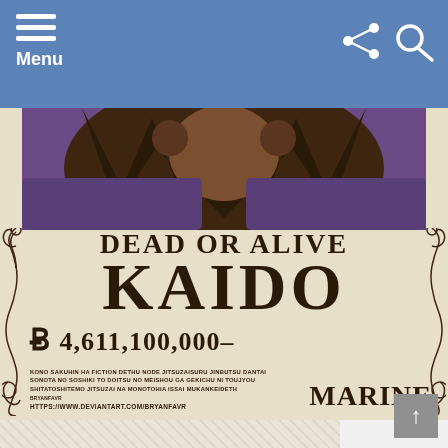Menu
[Figure (illustration): One Piece wanted poster for Kaido showing partial character illustration at top and wanted poster text below. The poster has a beige/cream background with decorative scroll borders. Text reads DEAD OR ALIVE, KAIDO, bounty symbol 4,611,100,000-, disclaimer text in small caps, and MARINE. Below is a partial second image with dotted/crosshatch pattern.]
DEAD OR ALIVE
KAIDO
4,611,100,000–
KONO SAKUHIN HA FICTION DETHU NODE JITSUZAISURU JINBUTSU DANTAI SONOTA NO SOSHIKI TO DOITSU NO MEISHOU GA GEKICHU NI TOUJYOU SHITATOSHITEMO JITSUZAI NA MONOTOHIA ISSAI MUKANKEIDETH BRYANFAVR HTTPS://WWW.DEVIANTART.COM/BRYANFAVR
MARINE